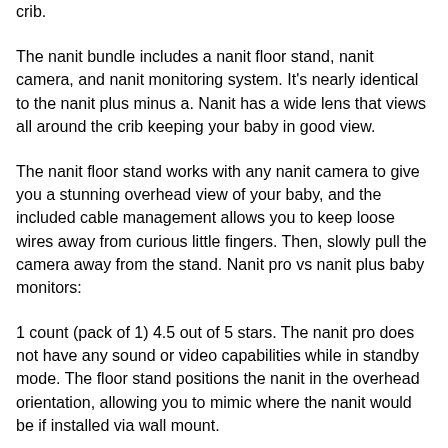crib.
The nanit bundle includes a nanit floor stand, nanit camera, and nanit monitoring system. It’s nearly identical to the nanit plus minus a. Nanit has a wide lens that views all around the crib keeping your baby in good view.
The nanit floor stand works with any nanit camera to give you a stunning overhead view of your baby, and the included cable management allows you to keep loose wires away from curious little fingers. Then, slowly pull the camera away from the stand. Nanit pro vs nanit plus baby monitors:
1 count (pack of 1) 4.5 out of 5 stars. The nanit pro does not have any sound or video capabilities while in standby mode. The floor stand positions the nanit in the overhead orientation, allowing you to mimic where the nanit would be if installed via wall mount.